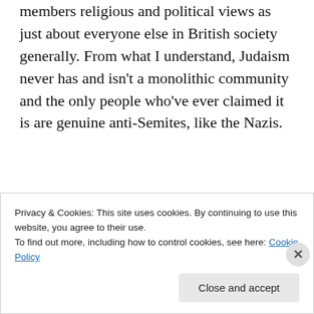members religious and political views as just about everyone else in British society generally. From what I understand, Judaism never has and isn't a monolithic community and the only people who've ever claimed it is are genuine anti-Semites, like the Nazis.
[Figure (screenshot): WooCommerce advertisement banner with dark purple background, teal triangle on left, blue circle on right, white bold text reading 'Turn your hobby into a business in 8 steps']
Privacy & Cookies: This site uses cookies. By continuing to use this website, you agree to their use.
To find out more, including how to control cookies, see here: Cookie Policy